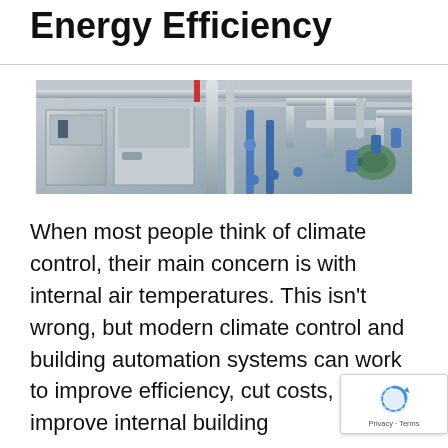Energy Efficiency
[Figure (photo): Industrial HVAC and building automation equipment showing insulated pipes, ducts, valves, and mechanical systems in a utility room or plant.]
When most people think of climate control, their main concern is with internal air temperatures. This isn't wrong, but modern climate control and building automation systems can work to improve efficiency, cut costs, and improve internal building